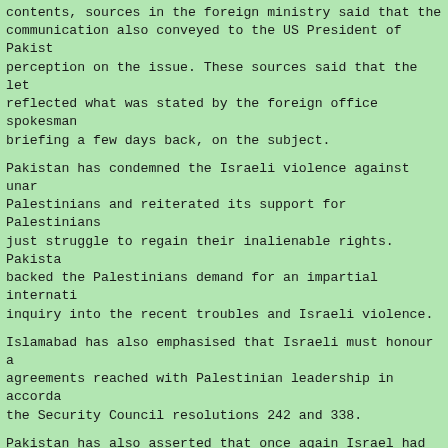contents, sources in the foreign ministry said that the communication also conveyed to the US President of Pakistan's perception on the issue. These sources said that the letter reflected what was stated by the foreign office spokesman briefing a few days back, on the subject.
Pakistan has condemned the Israeli violence against unarmed Palestinians and reiterated its support for Palestinians just struggle to regain their inalienable rights. Pakistan backed the Palestinians demand for an impartial international inquiry into the recent troubles and Israeli violence.
Islamabad has also emphasised that Israeli must honour all agreements reached with Palestinian leadership in accordance the Security Council resolutions 242 and 338.
Pakistan has also asserted that once again Israel had resorted aggression and use of force violating the principle of just international law to impose its own preferences in the Middle conflict. This, however, it was said, would not bring durable peace.
Foreign minister Abdul Sattar told newsmen on Friday that durable peace in Middle East that were encouraged by President Clinton's peace process had been threatened with serious
YASSER ARAFAT: In his letter to President Yasser Arafat, conveyed the sympathies and condolences over the loss of Palestinian lives in Gaza and West Bank as a result of indiscriminate use of excessive force by Israeli armed fo